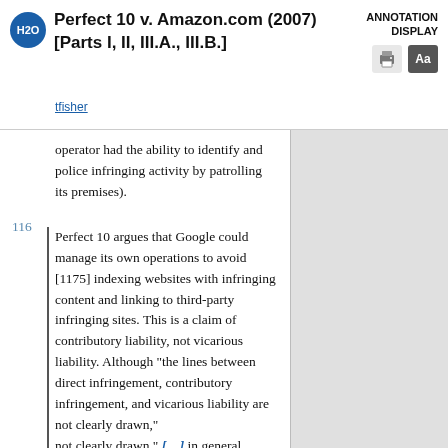Perfect 10 v. Amazon.com (2007) [Parts I, II, III.A., III.B.]
ANNOTATION DISPLAY
tfisher
operator had the ability to identify and police infringing activity by patrolling its premises).
116 Perfect 10 argues that Google could manage its own operations to avoid [1175] indexing websites with infringing content and linking to third-party infringing sites. This is a claim of contributory liability, not vicarious liability. Although "the lines between direct infringement, contributory infringement, and vicarious liability are not clearly drawn," [...] in general, contributory liability is based on the